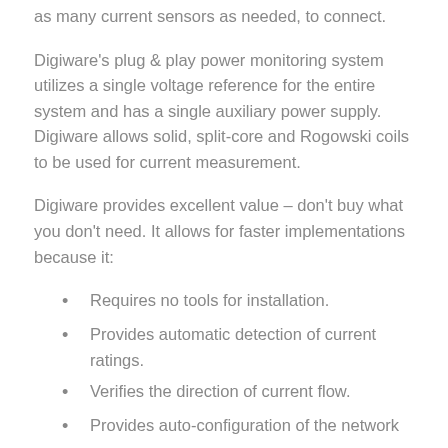as many current sensors as needed, to connect.
Digiware's plug & play power monitoring system utilizes a single voltage reference for the entire system and has a single auxiliary power supply. Digiware allows solid, split-core and Rogowski coils to be used for current measurement.
Digiware provides excellent value – don't buy what you don't need. It allows for faster implementations because it:
Requires no tools for installation.
Provides automatic detection of current ratings.
Verifies the direction of current flow.
Provides auto-configuration of the network